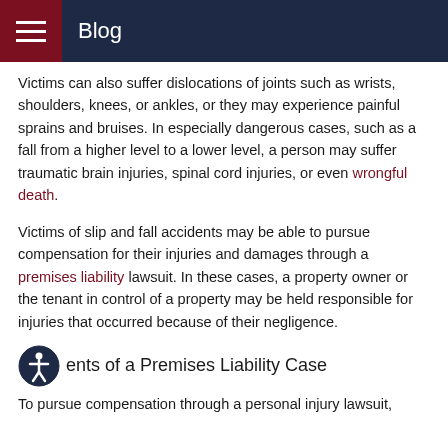Blog
Victims can also suffer dislocations of joints such as wrists, shoulders, knees, or ankles, or they may experience painful sprains and bruises. In especially dangerous cases, such as a fall from a higher level to a lower level, a person may suffer traumatic brain injuries, spinal cord injuries, or even wrongful death.
Victims of slip and fall accidents may be able to pursue compensation for their injuries and damages through a premises liability lawsuit. In these cases, a property owner or the tenant in control of a property may be held responsible for injuries that occurred because of their negligence.
ents of a Premises Liability Case
To pursue compensation through a personal injury lawsuit,